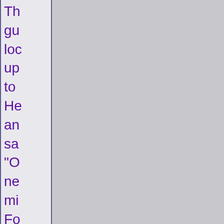Th gu loc up to He an sa "O ne mi Fo on Th wa on of tho f